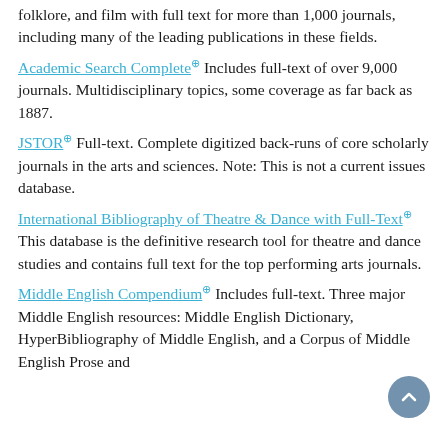folklore, and film with full text for more than 1,000 journals, including many of the leading publications in these fields.
Academic Search Complete Includes full-text of over 9,000 journals. Multidisciplinary topics, some coverage as far back as 1887.
JSTOR Full-text. Complete digitized back-runs of core scholarly journals in the arts and sciences. Note: This is not a current issues database.
International Bibliography of Theatre & Dance with Full-Text This database is the definitive research tool for theatre and dance studies and contains full text for the top performing arts journals.
Middle English Compendium Includes full-text. Three major Middle English resources: Middle English Dictionary, HyperBibliography of Middle English, and a Corpus of Middle English Prose and